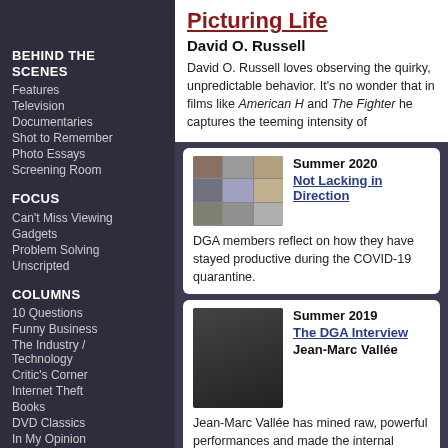BEHIND THE SCENES
Features
Television
Documentaries
Shot to Remember
Photo Essays
Screening Room
FOCUS
Can't Miss Viewing
Gadgets
Problem Solving
Unscripted
COLUMNS
10 Questions
Funny Business
The Industry / Technology
Critic's Corner
Internet Theft
Books
DVD Classics
In My Opinion
Out of the Past
Drawing Board
Crossword Puzzle
Picturing Life
David O. Russell
David O. Russell loves observing the quirky, unpredictable behavior. It's no wonder that in films like American H and The Fighter he captures the teeming intensity of
Summer 2020
Not Lacking in Direction
DGA members reflect on how they have stayed productive during the COVID-19 quarantine.
Summer 2019
The DGA Interview
Jean-Marc Vallée
Jean-Marc Vallée has mined raw, powerful performances and made the internal external as he's tracked the trials and tribulations of the lost and damaged.